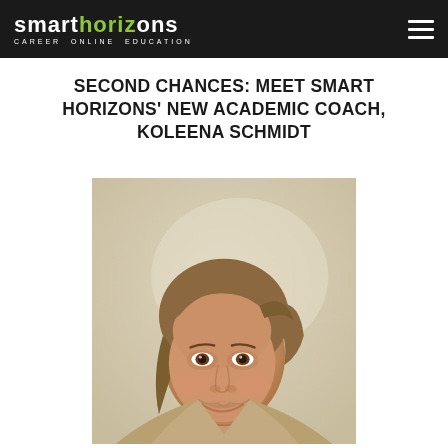smart horizons CAREER ONLINE EDUCATION
SECOND CHANCES: MEET SMART HORIZONS' NEW ACADEMIC COACH, KOLEENA SCHMIDT
[Figure (photo): Portrait photo of Koleena Schmidt, a woman with light brown hair pulled back, smiling, wearing a beige/tan top, photographed against a light beige wall.]